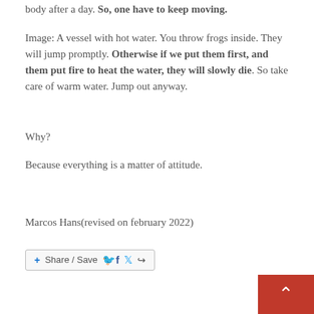body after a day. So, one have to keep moving.
Image: A vessel with hot water. You throw frogs inside. They will jump promptly. Otherwise if we put them first, and them put fire to heat the water, they will slowly die. So take care of warm water. Jump out anyway.
Why?
Because everything is a matter of attitude.
Marcos Hans(revised on february 2022)
[Figure (other): Share/Save button with Facebook, Twitter, and share icons]